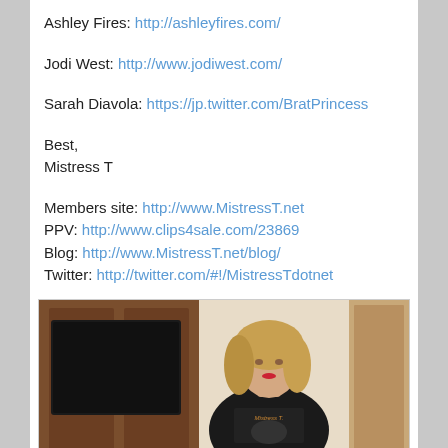Ashley Fires: http://ashleyfires.com/
Jodi West: http://www.jodiwest.com/
Sarah Diavola: https://jp.twitter.com/BratPrincess
Best,
Mistress T
Members site: http://www.MistressT.net
PPV: http://www.clips4sale.com/23869
Blog: http://www.MistressT.net/blog/
Twitter: http://twitter.com/#!/MistressTdotnet
[Figure (photo): Photo of a blonde woman wearing a black Mistress T t-shirt, standing in front of a wooden cabinet/mirror.]